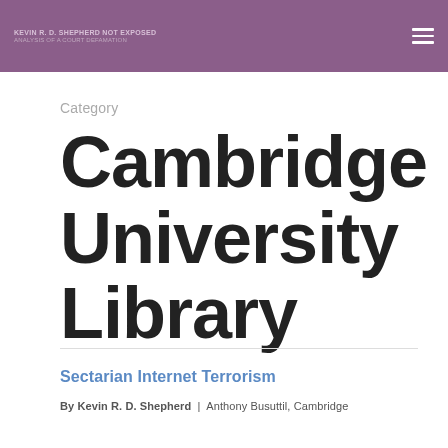KEVIN R. D. SHEPHERD NOT EXPOSED
ANALYSIS OF A COURT DEFAMATION
Category
Cambridge University Library
Sectarian Internet Terrorism
By Kevin R. D. Shepherd | Anthony Busuttil, Cambridge